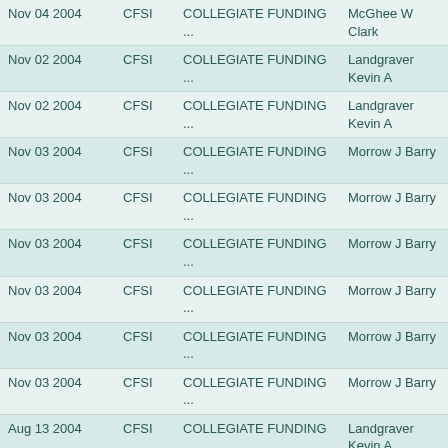| Date | Ticker | Company | Name | Title |
| --- | --- | --- | --- | --- |
| Nov 04 2004 | CFSI | COLLEGIATE FUNDING ... | McGhee W Clark | EVP, Sale |
| Nov 02 2004 | CFSI | COLLEGIATE FUNDING ... | Landgraver Kevin A | EVP & CF |
| Nov 02 2004 | CFSI | COLLEGIATE FUNDING ... | Landgraver Kevin A | EVP & CF |
| Nov 03 2004 | CFSI | COLLEGIATE FUNDING ... | Morrow J Barry | President |
| Nov 03 2004 | CFSI | COLLEGIATE FUNDING ... | Morrow J Barry | President |
| Nov 03 2004 | CFSI | COLLEGIATE FUNDING ... | Morrow J Barry | President |
| Nov 03 2004 | CFSI | COLLEGIATE FUNDING ... | Morrow J Barry | President |
| Nov 03 2004 | CFSI | COLLEGIATE FUNDING ... | Morrow J Barry | President |
| Nov 03 2004 | CFSI | COLLEGIATE FUNDING ... | Morrow J Barry | President |
| Aug 13 2004 | CFSI | COLLEGIATE FUNDING ... | Landgraver Kevin A | EVP & CF |
| Jul 23 2004 | CFSI | COLLEGIATE FUNDING ... | Fees John T | EVP |
| Jul 23 2004 | CFSI | COLLEGIATE FUNDING ... | HOUGH LAWRENCE A | Director |
| Jul 23 2004 | CFSI | COLLEGIATE FUNDING ... | Rubin Bruce J | Director |
| Jul 23 2004 | CFSI | COLLEGIATE FUNDING ... | STERNE | Director |